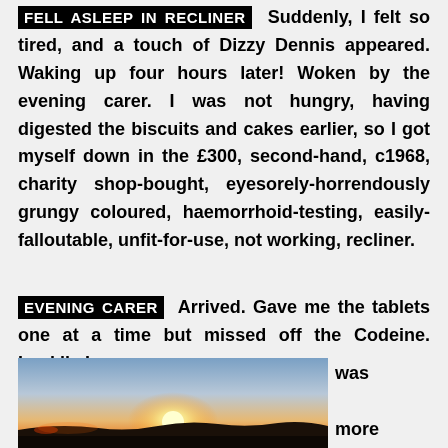FELL ASLEEP IN RECLINER
Suddenly, I felt so tired, and a touch of Dizzy Dennis appeared. Waking up four hours later! Woken by the evening carer. I was not hungry, having digested the biscuits and cakes earlier, so I got myself down in the £300, second-hand, c1968, charity shop-bought, eyesorely-horrendously grungy coloured, haemorrhoid-testing, easily-falloutable, unfit-for-use, not working, recliner.
EVENING CARER
Arrived. Gave me the tablets one at a time but missed off the Codeine. Luckily I was more with after the kip,
[Figure (photo): A sunset landscape photo showing a bright sun setting over a dark silhouetted hillside, with a warm orange and golden sky fading to blue near the top.]